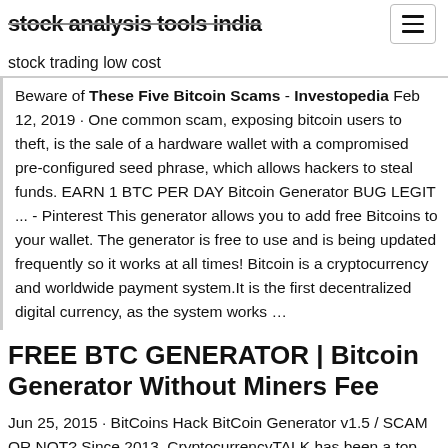stock analysis tools india
stock trading low cost
Beware of These Five Bitcoin Scams - Investopedia Feb 12, 2019 · One common scam, exposing bitcoin users to theft, is the sale of a hardware wallet with a compromised pre-configured seed phrase, which allows hackers to steal funds. EARN 1 BTC PER DAY Bitcoin Generator BUG LEGIT ... - Pinterest This generator allows you to add free Bitcoins to your wallet. The generator is free to use and is being updated frequently so it works at all times! Bitcoin is a cryptocurrency and worldwide payment system.It is the first decentralized digital currency, as the system works …
FREE BTC GENERATOR | Bitcoin Generator Without Miners Fee
Jun 25, 2015 · BitCoins Hack BitCoin Generator v1.5 / SCAM OR NOT? Since 2013, CryptocurrencyTALK has been a top cryptocurrency source for the latest news, information, and